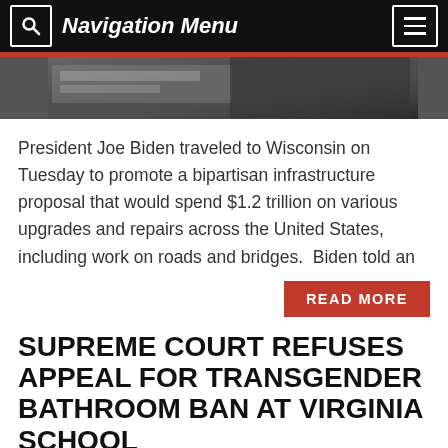Navigation Menu
[Figure (photo): Partial photograph of a person at a podium, cropped to show lower portion, dark background]
President Joe Biden traveled to Wisconsin on Tuesday to promote a bipartisan infrastructure proposal that would spend $1.2 trillion on various upgrades and repairs across the United States, including work on roads and bridges.  Biden told an
READ MORE
SUPREME COURT REFUSES APPEAL FOR TRANSGENDER BATHROOM BAN AT VIRGINIA SCHOOL